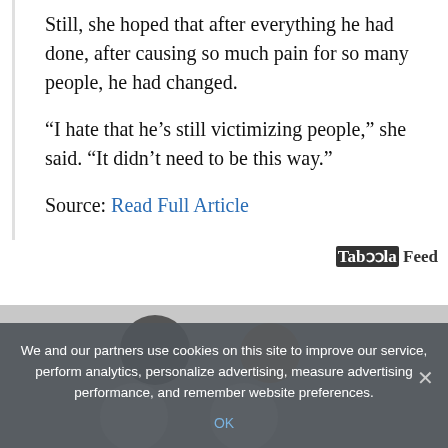Still, she hoped that after everything he had done, after causing so much pain for so many people, he had changed.
“I hate that he’s still victimizing people,” she said. “It didn’t need to be this way.”
Source: Read Full Article
[Figure (other): Taboola Feed branding logo/text]
[Figure (photo): Overhead photo of several round pill-shaped objects on a gray background, including dark, tan, and white pills]
We and our partners use cookies on this site to improve our service, perform analytics, personalize advertising, measure advertising performance, and remember website preferences.
OK